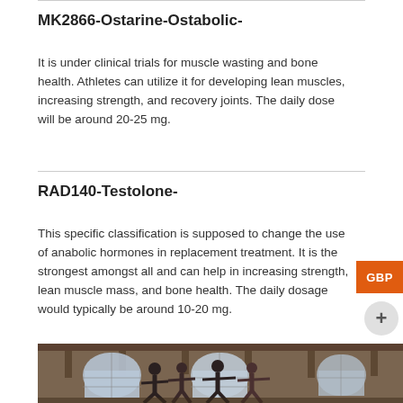MK2866-Ostarine-Ostabolic-
It is under clinical trials for muscle wasting and bone health. Athletes can utilize it for developing lean muscles, increasing strength, and recovery joints. The daily dose will be around 20-25 mg.
RAD140-Testolone-
This specific classification is supposed to change the use of anabolic hormones in replacement treatment. It is the strongest amongst all and can help in increasing strength, lean muscle mass, and bone health. The daily dosage would typically be around 10-20 mg.
[Figure (photo): Group of athletes in a gym studio with brick walls and large arched windows, performing exercise movements with arms extended.]